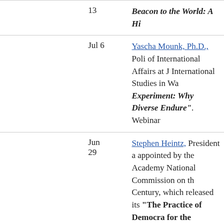|  | Date | Description |
| --- | --- | --- |
|  | 13 | Beacon to the World: A Hi... |
|  | Jul 6 | Yascha Mounk, Ph.D., Poli... of International Affairs at J... International Studies in Wa... Experiment: Why Diverse... Endure". Webinar |
|  | Jun
29 | Stephen Heintz, President a... appointed by the Academy... National Commission on th... Century, which released its... "The Practice of Democra... for the Future" |
|  | Jun
22 | Frank McGinnis, Retired M... at Greenwich YMCA; "Res... in Aging" |
|  | Jun
15 | Jim Knox, Curator of Educ... We Need to Know to Kee... |